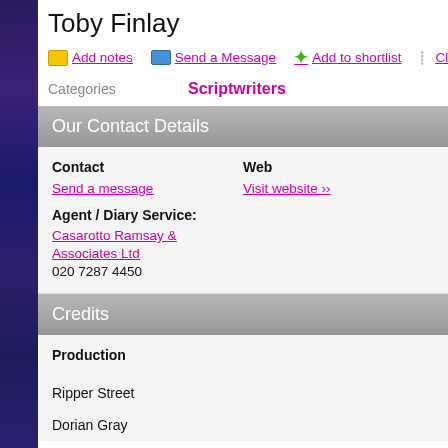Toby Finlay
Add notes | Send a Message | Add to shortlist | Claim Profile
Categories: Scriptwriters
Our Contact Details
| Contact | Web |
| --- | --- |
| Send a message | Visit website ›› |
| Agent / Diary Service: Casarotto Ramsay & Associates Ltd
020 7287 4450 |  |
Credits
Production
Ripper Street
Dorian Gray